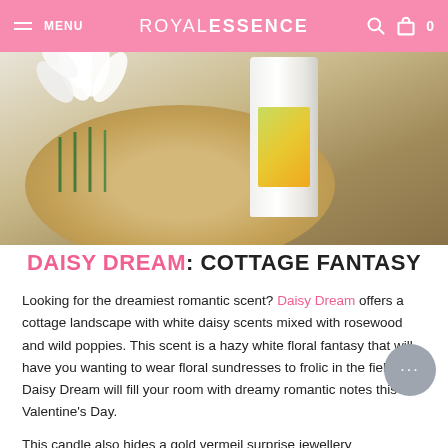MENU   ROYALESSENCE   🔍  🛍 0
[Figure (photo): Product photo showing a candle with green and yellow label on a woven rattan mat with white flowers, against a light blue background]
DAISY DREAM: COTTAGE FANTASY
Looking for the dreamiest romantic scent? Daisy Dream offers a cottage landscape with white daisy scents mixed with rosewood and wild poppies. This scent is a hazy white floral fantasy that will have you wanting to wear floral sundresses to frolic in the field. Daisy Dream will fill your room with dreamy romantic notes this Valentine's Day.
This candle also hides a gold vermeil surprise jewellery